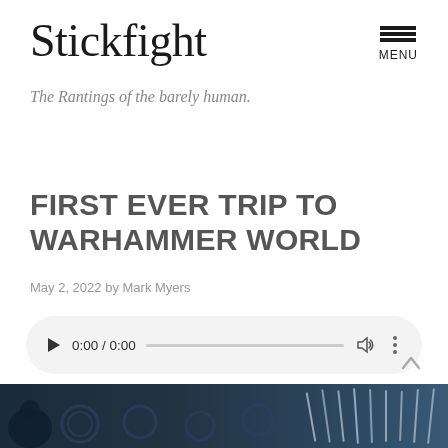Stickfight
The Rantings of the barely human.
FIRST EVER TRIP TO WARHAMMER WORLD
May 2, 2022 by Mark Myers
[Figure (screenshot): Audio player widget showing 0:00 / 0:00 with play button, progress bar, volume icon, and more options icon]
[Figure (photo): Dark blue toned image of what appears to be miniature gaming models or figurines]